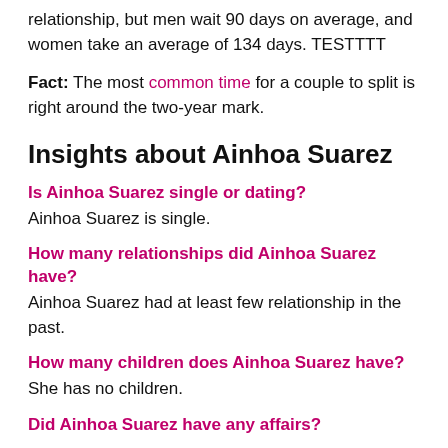relationship, but men wait 90 days on average, and women take an average of 134 days. TESTTTT
Fact: The most common time for a couple to split is right around the two-year mark.
Insights about Ainhoa Suarez
Is Ainhoa Suarez single or dating?
Ainhoa Suarez is single.
How many relationships did Ainhoa Suarez have?
Ainhoa Suarez had at least few relationship in the past.
How many children does Ainhoa Suarez have?
She has no children.
Did Ainhoa Suarez have any affairs?